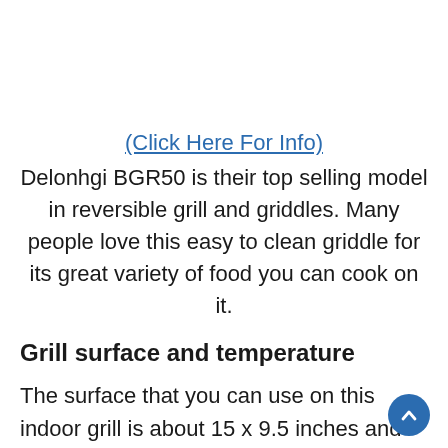(Click Here For Info)
Delonhgi BGR50 is their top selling model in reversible grill and griddles. Many people love this easy to clean griddle for its great variety of food you can cook on it.
Grill surface and temperature
The surface that you can use on this indoor grill is about 15 x 9.5 inches and the temperature about 4 10...